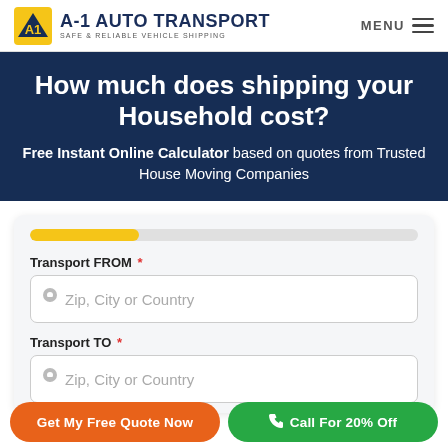A-1 AUTO TRANSPORT SAFE & RELIABLE VEHICLE SHIPPING | MENU
How much does shipping your Household cost?
Free Instant Online Calculator based on quotes from Trusted House Moving Companies
Transport FROM * | Zip, City or Country
Transport TO * | Zip, City or Country
Get My Free Quote Now | Call For 20% Off